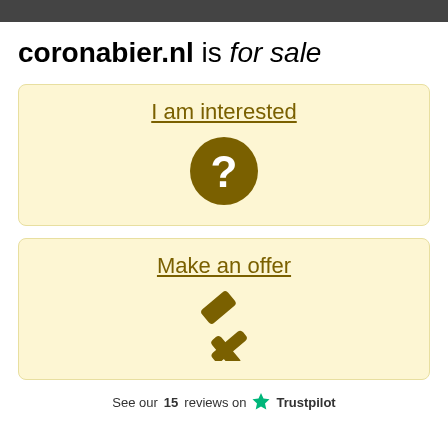coronabier.nl is for sale
I am interested
[Figure (illustration): Question mark icon inside a dark brown circle]
Make an offer
[Figure (illustration): Gavel/auction hammer icon in dark brown]
See our 15 reviews on Trustpilot